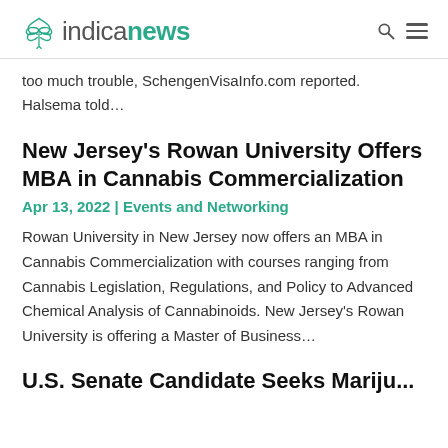indicanews
too much trouble, SchengenVisaInfo.com reported. Halsema told...
New Jersey’s Rowan University Offers MBA in Cannabis Commercialization
Apr 13, 2022 | Events and Networking
Rowan University in New Jersey now offers an MBA in Cannabis Commercialization with courses ranging from Cannabis Legislation, Regulations, and Policy to Advanced Chemical Analysis of Cannabinoids. New Jersey’s Rowan University is offering a Master of Business...
U.S. Senate Candidate Seeks Marijuana...